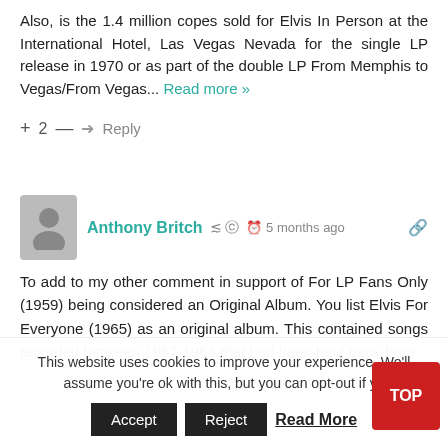Also, is the 1.4 million copes sold for Elvis In Person at the International Hotel, Las Vegas Nevada for the single LP release in 1970 or as part of the double LP From Memphis to Vegas/From Vegas... Read more »
+ 2 — ➤ Reply
Anthony Britch   5 months ago
To add to my other comment in support of For LP Fans Only (1959) being considered an Original Album. You list Elvis For Everyone (1965) as an original album. This contained songs recorded between 1957-1963 that had been held back from
This website uses cookies to improve your experience. We'll assume you're ok with this, but you can opt-out if yo... Accept  Reject  Read More